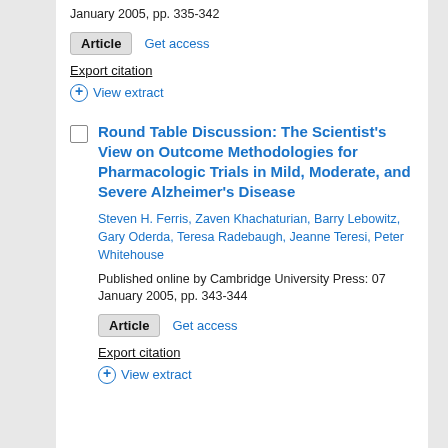January 2005, pp. 335-342
Article   Get access
Export citation
+ View extract
Round Table Discussion: The Scientist's View on Outcome Methodologies for Pharmacologic Trials in Mild, Moderate, and Severe Alzheimer's Disease
Steven H. Ferris, Zaven Khachaturian, Barry Lebowitz, Gary Oderda, Teresa Radebaugh, Jeanne Teresi, Peter Whitehouse
Published online by Cambridge University Press: 07 January 2005, pp. 343-344
Article   Get access
Export citation
+ View extract